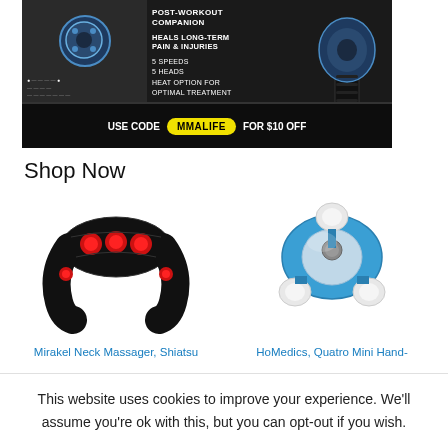[Figure (photo): Dark-themed product advertisement banner for a massage gun. Shows text: POST-WORKOUT COMPANION, HEALS LONG-TERM PAIN & INJURIES, 5 SPEEDS, 5 HEADS, HEAT OPTION FOR OPTIMAL TREATMENT. A yellow badge with USE CODE MMALIFE FOR $10 OFF at the bottom.]
Shop Now
[Figure (photo): Mirakel Neck Massager, Shiatsu product image showing black neck massager with red nodes]
[Figure (photo): HoMedics, Quatro Mini Hand- product image showing blue handheld massager]
Mirakel Neck Massager, Shiatsu
HoMedics, Quatro Mini Hand-
This website uses cookies to improve your experience. We'll assume you're ok with this, but you can opt-out if you wish.